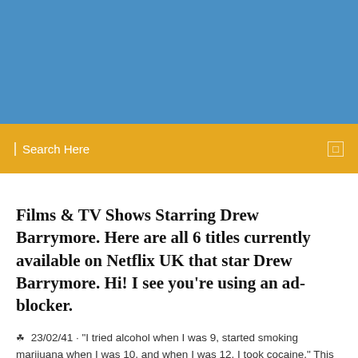[Figure (other): Blue banner/header background image area]
Search Here
Films & TV Shows Starring Drew Barrymore. Here are all 6 titles currently available on Netflix UK that star Drew Barrymore. Hi! I see you're using an ad- blocker.
23/02/41 · "I tried alcohol when I was 9, started smoking marijuana when I was 10, and when I was 12, I took cocaine." This is what Drew Barrymore revealed in her life story 'Little Girl Lost' in 1990.  |